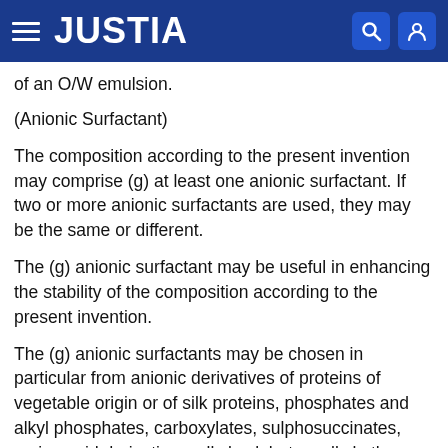JUSTIA
of an O/W emulsion.
(Anionic Surfactant)
The composition according to the present invention may comprise (g) at least one anionic surfactant. If two or more anionic surfactants are used, they may be the same or different.
The (g) anionic surfactant may be useful in enhancing the stability of the composition according to the present invention.
The (g) anionic surfactants may be chosen in particular from anionic derivatives of proteins of vegetable origin or of silk proteins, phosphates and alkyl phosphates, carboxylates, sulphosuccinates, amino acid derivatives, alkyl sulphates, alkyl ether sulphates, sulphonates,